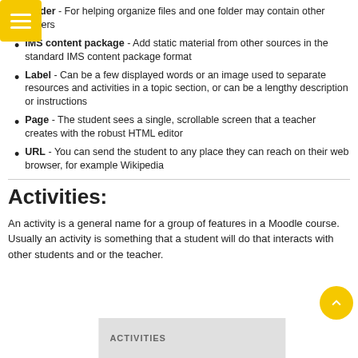Folder - For helping organize files and one folder may contain other folders
IMS content package - Add static material from other sources in the standard IMS content package format
Label - Can be a few displayed words or an image used to separate resources and activities in a topic section, or can be a lengthy description or instructions
Page - The student sees a single, scrollable screen that a teacher creates with the robust HTML editor
URL - You can send the student to any place they can reach on their web browser, for example Wikipedia
Activities:
An activity is a general name for a group of features in a Moodle course. Usually an activity is something that a student will do that interacts with other students and or the teacher.
[Figure (screenshot): Partial screenshot showing an 'ACTIVITIES' labeled panel at the bottom of the page]